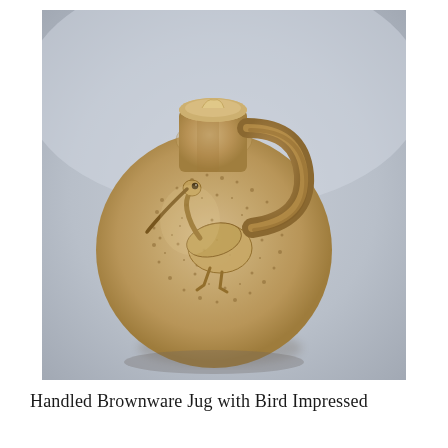[Figure (photo): Photograph of an ancient handled brownware ceramic jug with a round globular body. The jug has a cylindrical neck with a small spout, a looped handle on the right side, and a bird figure (likely an ibis or heron) impressed in relief on the front of the round body. The surface has a pitted, sandy texture with small dots throughout. The background is a neutral gray gradient, photographed on a studio surface.]
Handled Brownware Jug with Bird Impressed